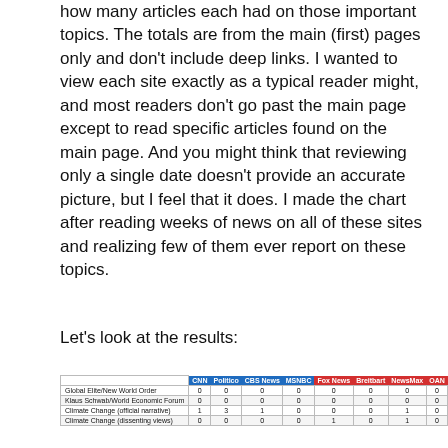how many articles each had on those important topics. The totals are from the main (first) pages only and don't include deep links. I wanted to view each site exactly as a typical reader might, and most readers don't go past the main page except to read specific articles found on the main page. And you might think that reviewing only a single date doesn't provide an accurate picture, but I feel that it does. I made the chart after reading weeks of news on all of these sites and realizing few of them ever report on these topics.
Let's look at the results:
|  | CNN | Politico | CBS News | MSNBC | Fox News | Breitbart | NewsMax | OAN |
| --- | --- | --- | --- | --- | --- | --- | --- | --- |
| Global Elite/New World Order | 0 | 0 | 0 | 0 | 0 | 0 | 0 | 0 |
| Klaus Schwab/World Economic Forum | 0 | 0 | 0 | 0 | 0 | 0 | 0 | 0 |
| Climate Change (official narrative) | 1 | 3 | 1 | 0 | 0 | 0 | 1 | 0 |
| Climate Change (dissenting views) | 0 | 0 | 0 | 0 | 1 | 0 | 1 | 0 |